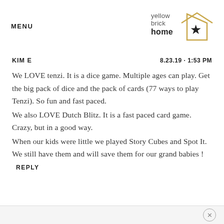MENU
[Figure (logo): Yellow Brick Home logo with a house outline in gold containing a black star, with text 'yellow brick home']
KIM E   8.23.19 · 1:53 PM
We LOVE tenzi. It is a dice game. Multiple ages can play. Get the big pack of dice and the pack of cards (77 ways to play Tenzi). So fun and fast paced.
We also LOVE Dutch Blitz. It is a fast paced card game. Crazy, but in a good way.
When our kids were little we played Story Cubes and Spot It. We still have them and will save them for our grand babies !   REPLY